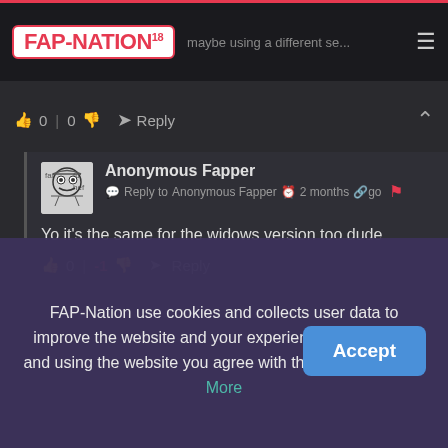FAP-NATION
0 | 0  Reply
Anonymous Fapper
Reply to Anonymous Fapper  2 months ago
Yo it's the same for the widows version too dude
0 | -1  Reply
FAP-Nation use cookies and collects user data to improve the website and your experience. By entering and using the website you agree with these terms. Learn More